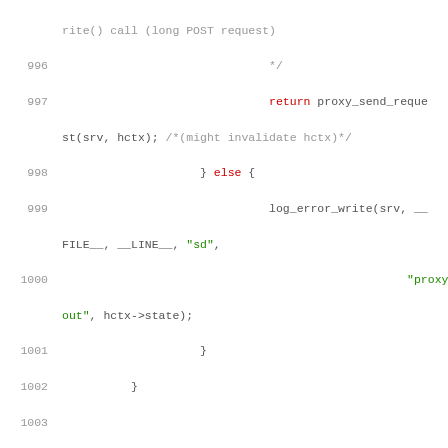Source code listing lines 996-1011, showing C code for proxy write/send request handling with FDEVENT_HUP check